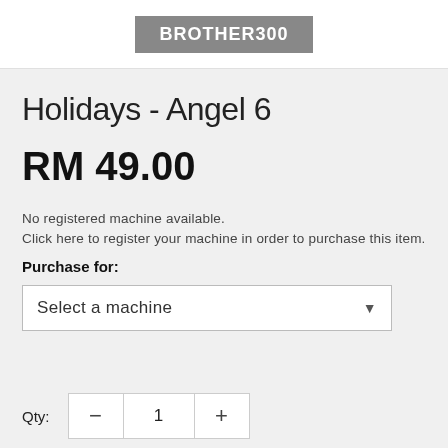BROTHER300
Holidays - Angel 6
RM 49.00
No registered machine available.
Click here to register your machine in order to purchase this item.
Purchase for:
Select a machine
Qty: 1